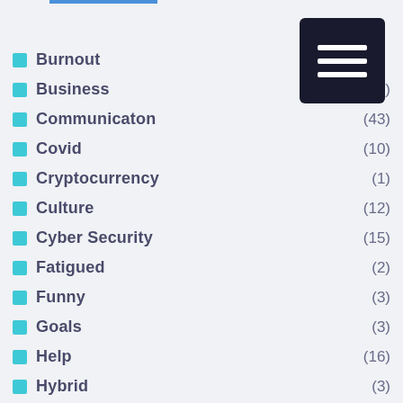Burnout
Business (66)
Communicaton (43)
Covid (10)
Cryptocurrency (1)
Culture (12)
Cyber Security (15)
Fatigued (2)
Funny (3)
Goals (3)
Help (16)
Hybrid (3)
KPI (1)